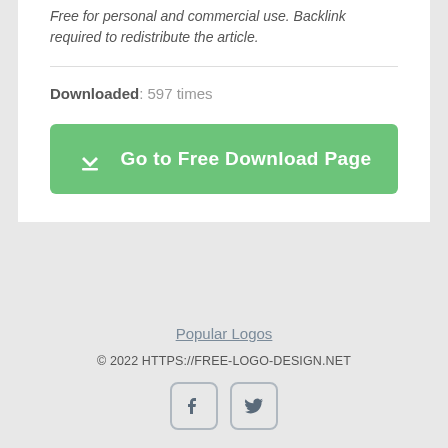Free for personal and commercial use. Backlink required to redistribute the article.
Downloaded: 597 times
Go to Free Download Page
Popular Logos
© 2022 HTTPS://FREE-LOGO-DESIGN.NET